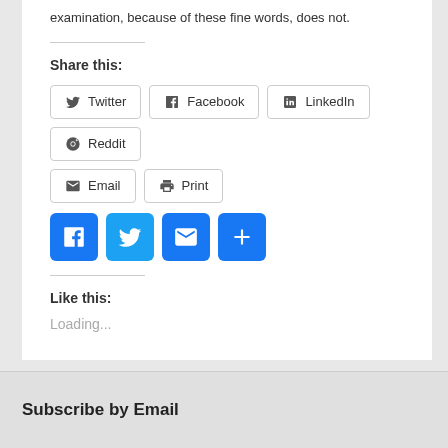examination, because of these fine words, does not.
Share this:
[Figure (screenshot): Row of share buttons: Twitter, Facebook, LinkedIn, Reddit, Email, Print]
[Figure (screenshot): Row of colorful social media icon buttons: Facebook, Twitter, Email, Share More]
Like this:
Loading...
Subscribe by Email